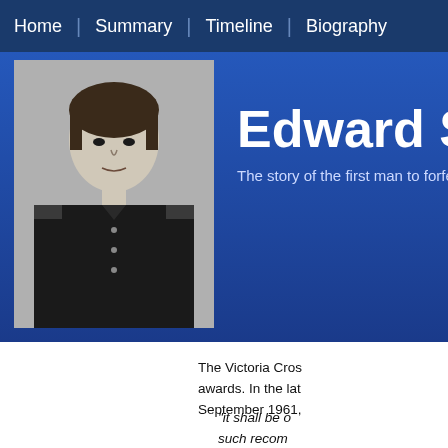Home | Summary | Timeline | Biography
Edward St Jo
The story of the first man to forfeit the Victo
[Figure (photo): Black and white portrait photograph of a young man in Victorian military uniform]
The Victoria Cross awards. In the lat September 1961,
"it shall be o such recom forfeited."